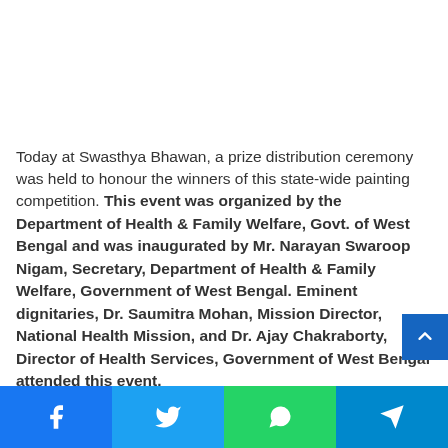Today at Swasthya Bhawan, a prize distribution ceremony was held to honour the winners of this state-wide painting competition. This event was organized by the Department of Health & Family Welfare, Govt. of West Bengal and was inaugurated by Mr. Narayan Swaroop Nigam, Secretary, Department of Health & Family Welfare, Government of West Bengal. Eminent dignitaries, Dr. Saumitra Mohan, Mission Director, National Health Mission, and Dr. Ajay Chakraborty, Director of Health Services, Government of West Bengal attended this event.